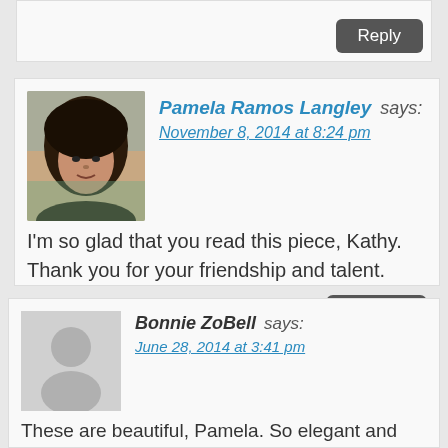[Figure (other): Partial top comment box showing only a Reply button, rest of comment above viewport]
Reply
[Figure (photo): Profile photo of Pamela Ramos Langley]
Pamela Ramos Langley says:
November 8, 2014 at 8:24 pm
I'm so glad that you read this piece, Kathy. Thank you for your friendship and talent.
Reply
[Figure (illustration): Default avatar silhouette for Bonnie ZoBell]
Bonnie ZoBell says:
June 28, 2014 at 3:41 pm
These are beautiful, Pamela. So elegant and short and yet they say so much. I'm still reading. Get back to you on fb soon.
Reply